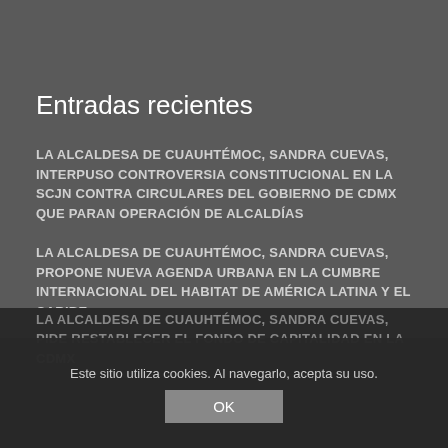Entradas recientes
LA ALCALDESA DE CUAUHTÉMOC, SANDRA CUEVAS, INTERPUSO CONTROVERSIA CONSTITUCIONAL EN LA SCJN CONTRA CIRCULARES DEL GOBIERNO DE CDMX QUE PARAN OPERACIÓN DE ALCALDÍAS
LA ALCALDESA DE CUAUHTÉMOC, SANDRA CUEVAS, PROPONE NUEVA AGENDA URBANA EN LA CUMBRE INTERNACIONAL DEL HABITAT DE AMÉRICA LATINA Y EL CARIBE
LA ALCALDESA DE CUAUHTÉMOC, SANDRA CUEVAS, PIDE RESTABLECER EL FONDO DE CAPITALIDAD EN LA CDMX
Este sitio utiliza cookies. Al navegarlo, acepta su uso.